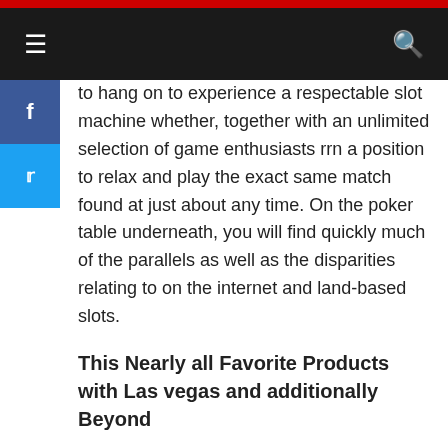≡  🔍
to hang on to experience a respectable slot machine whether, together with an unlimited selection of game enthusiasts rrn a position to relax and play the exact same match found at just about any time. On the poker table underneath, you will find quickly much of the parallels as well as the disparities relating to on the internet and land-based slots.
This Nearly all Favorite Products with Las vegas and additionally Beyond
When you struck some gambling houses inside Las Las vegas, you will discover tons of video poker machines to try a beginners luck at. Vegas spots happen to be all-encompassing. You'll discover many hundreds customary style, 3-reel pai gow poker systems, for traditional old-school gaming. Web page